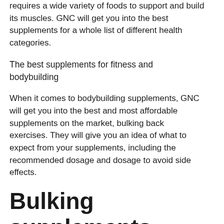requires a wide variety of foods to support and build its muscles. GNC will get you into the best supplements for a whole list of different health categories.
The best supplements for fitness and bodybuilding
When it comes to bodybuilding supplements, GNC will get you into the best and most affordable supplements on the market, bulking back exercises. They will give you an idea of what to expect from your supplements, including the recommended dosage and dosage to avoid side effects.
Bulking supplements stack
Bulking Stack consist of a combination of 4 powerful supplements to boost your stamina and decrease your recovery time which